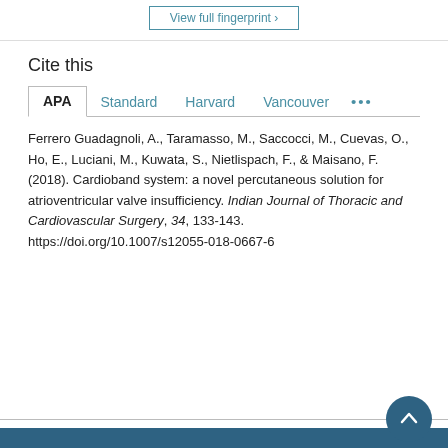View full fingerprint ›
Cite this
APA   Standard   Harvard   Vancouver   •••
Ferrero Guadagnoli, A., Taramasso, M., Saccocci, M., Cuevas, O., Ho, E., Luciani, M., Kuwata, S., Nietlispach, F., & Maisano, F. (2018). Cardioband system: a novel percutaneous solution for atrioventricular valve insufficiency. Indian Journal of Thoracic and Cardiovascular Surgery, 34, 133-143. https://doi.org/10.1007/s12055-018-0667-6